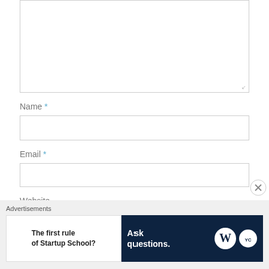[Figure (screenshot): Textarea input field for a comment form, empty and resizable]
Name *
[Figure (screenshot): Text input field for Name]
Email *
[Figure (screenshot): Text input field for Email]
Website
Advertisements
[Figure (screenshot): Advertisement banner: left side white with text 'The first rule of Startup School?' and right side dark blue with 'Ask questions.' and WordPress logos]